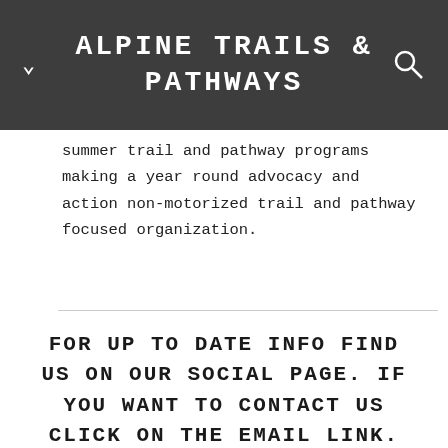ALPINE TRAILS & PATHWAYS
summer trail and pathway programs making a year round advocacy and action non-motorized trail and pathway focused organization.
FOR UP TO DATE INFO FIND US ON OUR SOCIAL PAGE. IF YOU WANT TO CONTACT US CLICK ON THE EMAIL LINK.